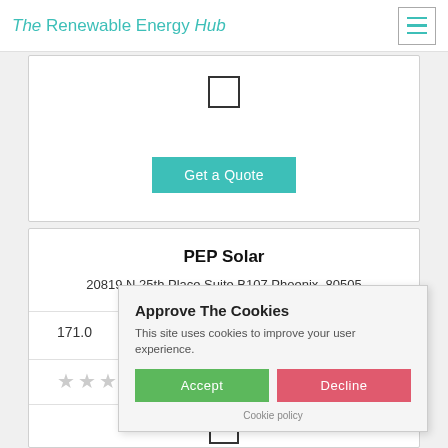The Renewable Energy Hub
[Figure (screenshot): Checkbox (unchecked square) in white card]
Get a Quote
PEP Solar
20819 N 25th Place,Suite B107,Phoenix, 80505
171.0
[Figure (other): Star rating area with grey stars]
[Figure (screenshot): Checkbox (unchecked square) in second white card]
Approve The Cookies
This site uses cookies to improve your user experience.
Accept  Decline
Cookie policy